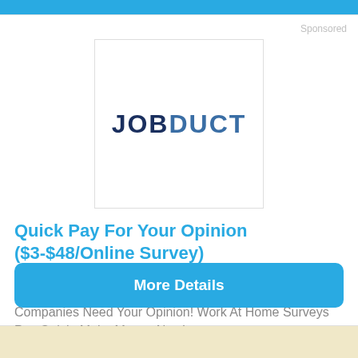[Figure (logo): JOBDUCT logo inside a white bordered box. JOB in dark navy, DUCT in medium blue, bold sans-serif font.]
Sponsored
Quick Pay For Your Opinion ($3-$48/Online Survey)
MySurveyJobs.com/Online_Home_Jobs
Companies Need Your Opinion! Work At Home Surveys Pay Quick. Make Money Now!
More Details